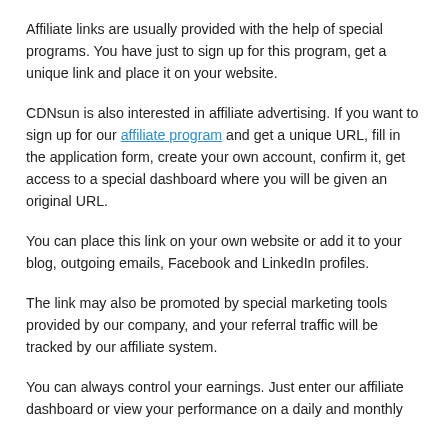Affiliate links are usually provided with the help of special programs. You have just to sign up for this program, get a unique link and place it on your website.
CDNsun is also interested in affiliate advertising. If you want to sign up for our affiliate program and get a unique URL, fill in the application form, create your own account, confirm it, get access to a special dashboard where you will be given an original URL.
You can place this link on your own website or add it to your blog, outgoing emails, Facebook and LinkedIn profiles.
The link may also be promoted by special marketing tools provided by our company, and your referral traffic will be tracked by our affiliate system.
You can always control your earnings. Just enter our affiliate dashboard or view your performance on a daily and monthly